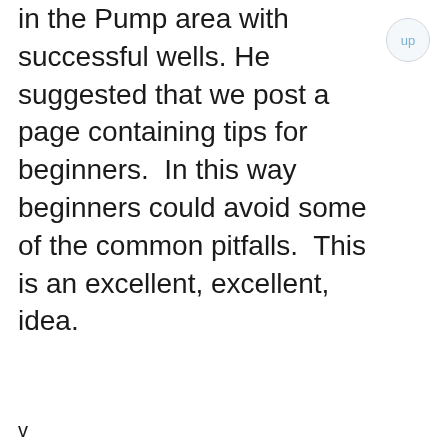in the Pump area with successful wells. He suggested that we post a page containing tips for beginners.  In this way beginners could avoid some of the common pitfalls.  This is an excellent, excellent, idea.
v